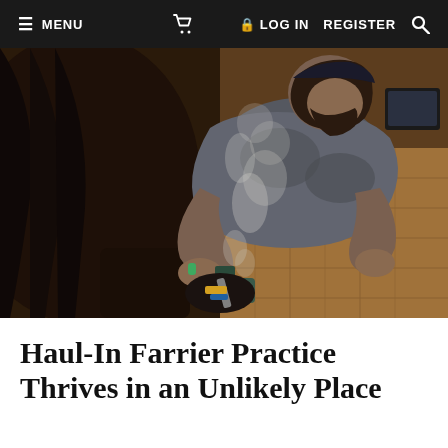MENU  [cart]  LOG IN  REGISTER  [search]
[Figure (photo): A farrier bending over and working on a horse's hoof in a stable, with smoke rising from the hoof. The man is wearing a gray t-shirt and a green bracelet, using tools on the horse's dark brown hoof. The background shows wooden flooring tiles and a monitor or device.]
Haul-In Farrier Practice Thrives in an Unlikely Place